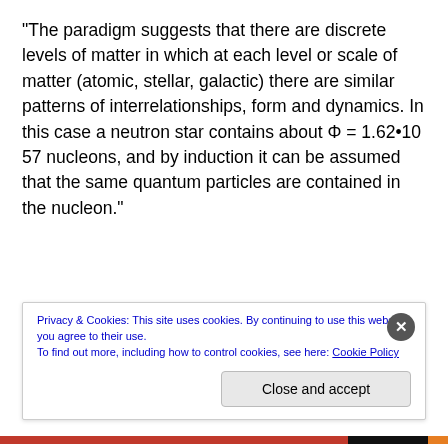“The paradigm suggests that there are discrete levels of matter in which at each level or scale of matter (atomic, stellar, galactic) there are similar patterns of interrelationships, form and dynamics. In this case a neutron star contains about Φ = 1.62•10 57 nucleons, and by induction it can be assumed that the same quantum particles are contained in the nucleon.”
As I read further. I saw that various great thinkers and
Privacy & Cookies: This site uses cookies. By continuing to use this website, you agree to their use.
To find out more, including how to control cookies, see here: Cookie Policy